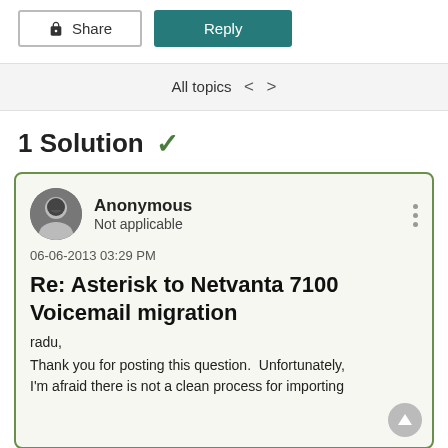[Figure (other): Share button (with share icon) and Reply button (teal/dark cyan background)]
All topics < >
1 Solution ✓
Anonymous
Not applicable
06-06-2013 03:29 PM
Re: Asterisk to Netvanta 7100 Voicemail migration
radu,

Thank you for posting this question.  Unfortunately, I'm afraid there is not a clean process for importing